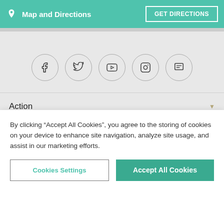Map and Directions | GET DIRECTIONS
[Figure (infographic): Row of five social media icon buttons in circular outlines: Facebook, Twitter, YouTube, Instagram, and a messaging/chat icon]
Action
Corporate
Blog & News
By clicking “Accept All Cookies”, you agree to the storing of cookies on your device to enhance site navigation, analyze site usage, and assist in our marketing efforts.
Cookies Settings | Accept All Cookies